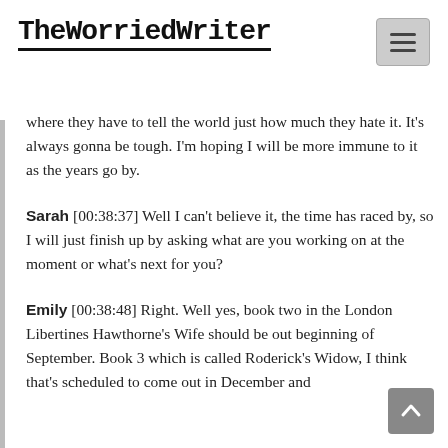TheWorriedWriter
where they have to tell the world just how much they hate it. It's always gonna be tough. I'm hoping I will be more immune to it as the years go by.
Sarah [00:38:37] Well I can't believe it, the time has raced by, so I will just finish up by asking what are you working on at the moment or what's next for you?
Emily [00:38:48] Right. Well yes, book two in the London Libertines Hawthorne's Wife should be out beginning of September. Book 3 which is called Roderick's Widow, I think that's scheduled to come out in December and